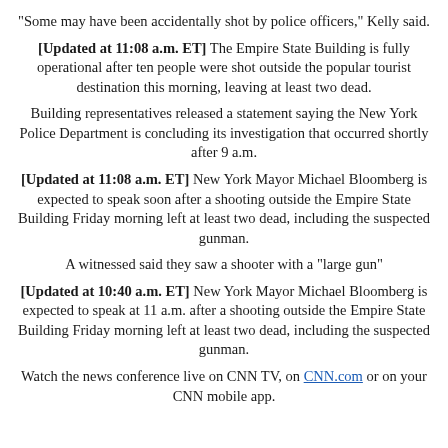"Some may have been accidentally shot by police officers," Kelly said.
[Updated at 11:08 a.m. ET] The Empire State Building is fully operational after ten people were shot outside the popular tourist destination this morning, leaving at least two dead.
Building representatives released a statement saying the New York Police Department is concluding its investigation that occurred shortly after 9 a.m.
[Updated at 11:08 a.m. ET] New York Mayor Michael Bloomberg is expected to speak soon after a shooting outside the Empire State Building Friday morning left at least two dead, including the suspected gunman.
A witnessed said they saw a shooter with a "large gun"
[Updated at 10:40 a.m. ET] New York Mayor Michael Bloomberg is expected to speak at 11 a.m. after a shooting outside the Empire State Building Friday morning left at least two dead, including the suspected gunman.
Watch the news conference live on CNN TV, on CNN.com or on your CNN mobile app.